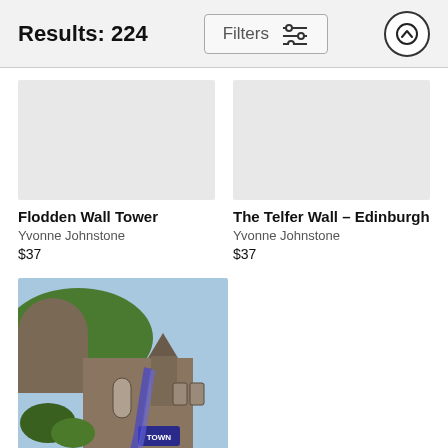Results: 224
Filters
[Figure (photo): Empty placeholder image for Flodden Wall Tower product]
Flodden Wall Tower
Yvonne Johnstone
$37
[Figure (photo): Empty placeholder image for The Telfer Wall - Edinburgh product]
The Telfer Wall - Edinburgh
Yvonne Johnstone
$37
[Figure (photo): Photo of Edinburgh Castle area showing a round stone tower, grassy hill, stone church building, trees, and a banner sign reading TOWN with blue decorative flowers]